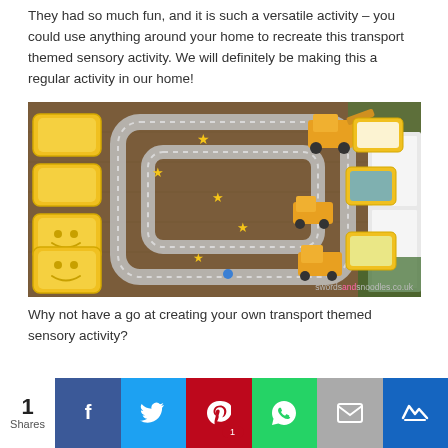They had so much fun, and it is such a versatile activity – you could use anything around your home to recreate this transport themed sensory activity. We will definitely be making this a regular activity in our home!
[Figure (photo): Photo of a DIY tape road track on a wooden floor with yellow toy construction vehicles, yellow trays with smiley faces, star stickers on the road, and construction toys. Watermark: swordsandsnoodles.co.uk]
Why not have a go at creating your own transport themed sensory activity?
1 Shares | Share buttons: Facebook, Twitter, Pinterest (1), WhatsApp, Email, Crown